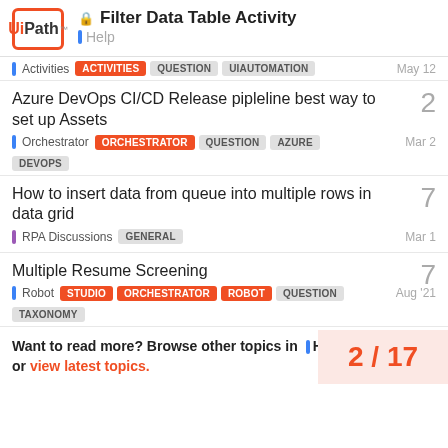Filter Data Table Activity — Help
Activities | ACTIVITIES | QUESTION | UIAUTOMATION | May 12
Azure DevOps CI/CD Release pipleline best way to set up Assets
Orchestrator | ORCHESTRATOR | QUESTION | AZURE | DEVOPS | Mar 2 | replies: 2
How to insert data from queue into multiple rows in data grid
RPA Discussions | GENERAL | Mar 1 | replies: 7
Multiple Resume Screening
Robot | STUDIO | ORCHESTRATOR | ROBOT | QUESTION | TAXONOMY | Aug '21 | replies: 7
Want to read more? Browse other topics in Help or view latest topics.
2 / 17